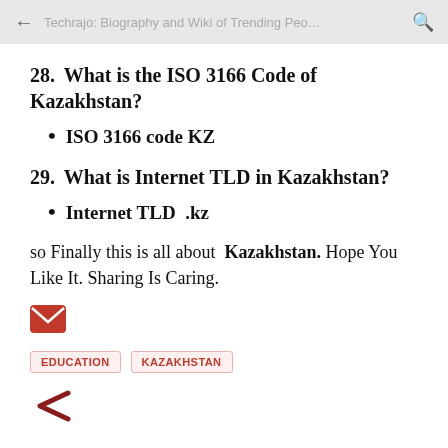Techrajo: Biography and Wiki of Trending Peo…
28.  What is the ISO 3166 Code of Kazakhstan?
ISO 3166 code KZ
29.  What is Internet TLD in Kazakhstan?
Internet TLD  .kz
so Finally this is all about  Kazakhstan. Hope You Like It. Sharing Is Caring.
[email icon]
EDUCATION   KAZAKHSTAN
[Figure (other): Share icon (less-than chevron shape in dark red)]